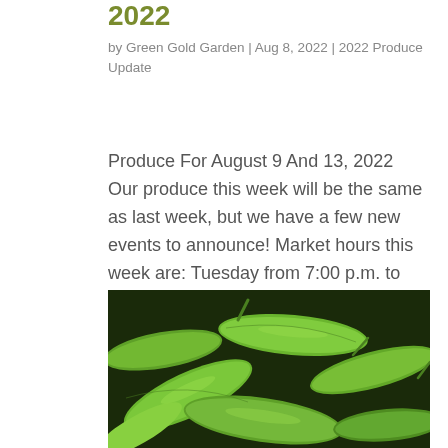2022
by Green Gold Garden | Aug 8, 2022 | 2022 Produce Update
Produce For August 9 And 13, 2022 Our produce this week will be the same as last week, but we have a few new events to announce! Market hours this week are: Tuesday from 7:00 p.m. to 8:30 p.m. Saturday from 11:00 a.m. to 1:00 p.m. Year of the Garden events (all events...
[Figure (photo): Close-up photo of fresh green snap peas / sugar snap peas pods piled together]